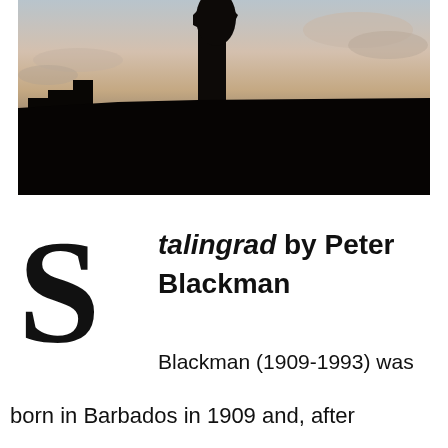[Figure (photo): Silhouette of a large statue on a pedestal against a twilight sky with clouds. The statue figure stands atop a tall column, backlit dramatically. The lower portion is in deep shadow.]
Stalingrad by Peter Blackman
Blackman (1909-1993) was born in Barbados in 1909 and, after